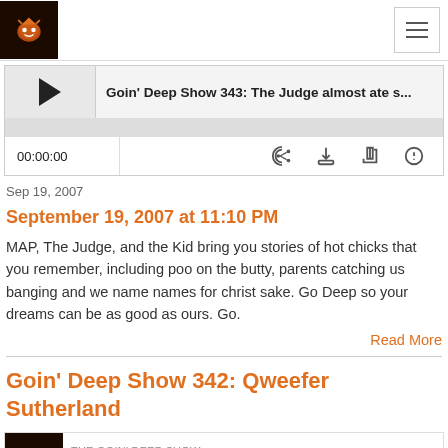Goin Deep Show logo and navigation
[Figure (screenshot): Audio player with play button, track title 'Goin' Deep Show 343: The Judge almost ate s...', progress bar, time display 00:00:00, and control icons (RSS, download, embed, share)]
Sep 19, 2007
September 19, 2007 at 11:10 PM
MAP, The Judge, and the Kid bring you stories of hot chicks that you remember, including poo on the butty, parents catching us banging and we name names for christ sake. Go Deep so your dreams can be as good as ours. Go.
Read More
Goin' Deep Show 342: Qweefer Sutherland
[Figure (screenshot): Bottom of page showing audio player thumbnail with THE GOIN' DEEP SHOW label]